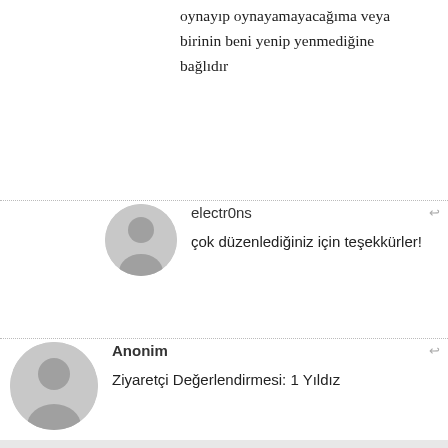oynayıp oynayamayacağıma veya birinin beni yenip yenmediğine bağlıdır
electr0ns
çok düzenlediğiniz için teşekkürler!
Anonim
Ziyaretçi Değerlendirmesi: 1 Yıldız